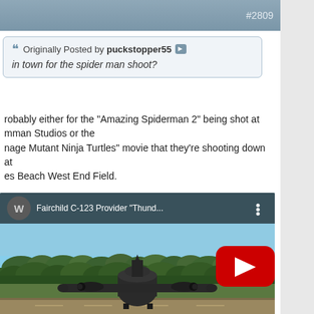#2809
Originally Posted by puckstopper55
in town for the spider man shoot?
probably either for the "Amazing Spiderman 2" being shot at mman Studios or the nage Mutant Ninja Turtles" movie that they're shooting down at es Beach West End Field.
Y, I found this cool takeoff video of that C-123 "Thunder Pig" back in 2011.
[Figure (screenshot): YouTube video embed showing Fairchild C-123 Provider "Thund..." with a military transport aircraft on a runway, trees in background, red YouTube play button overlay.]